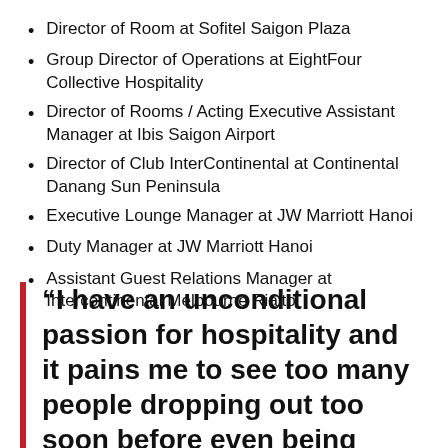Director of Room at Sofitel Saigon Plaza
Group Director of Operations at EightFour Collective Hospitality
Director of Rooms / Acting Executive Assistant Manager at Ibis Saigon Airport
Director of Club InterContinental at Continental Danang Sun Peninsula
Executive Lounge Manager at JW Marriott Hanoi
Duty Manager at JW Marriott Hanoi
Assistant Guest Relations Manager at Intercontinental Melbourne Rialto
“I have an unconditional passion for hospitality and it pains me to see too many people dropping out too soon before even being able